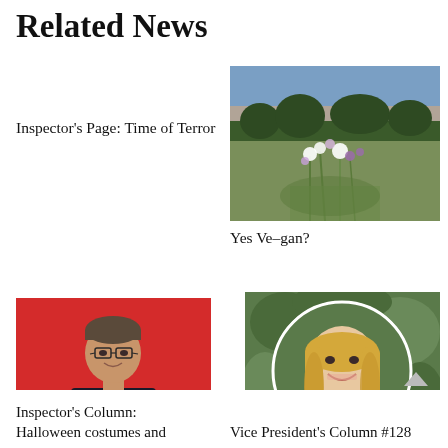Related News
Inspector’s Page: Time of Terror
[Figure (photo): Outdoor landscape photo with wildflowers (white and purple) in the foreground, field and trees in the background at dusk]
Yes Ve–gan?
[Figure (photo): Man in dark suit with glasses and crossed arms posing in front of a red background]
[Figure (photo): Blonde woman smiling, shown in a circular crop, with green foliage background]
Inspector’s Column: Halloween costumes and
Vice President’s Column #128